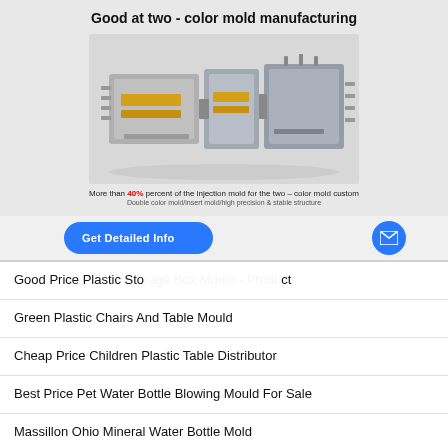Good at two - color mold manufacturing
[Figure (photo): Two-color injection mold assembly, metallic silver and gold components, industrial mold manufacturing]
More than 40% percent of the injection mold for the two – color mold custom
Double color mold/insert mold/high precision & stable structure
Get Detailed Info
Good Price Plastic Storage Box Mould
Green Plastic Chairs And Table Mould
Cheap Price Children Plastic Table Distributor
Best Price Pet Water Bottle Blowing Mould For Sale
Massillon Ohio Mineral Water Bottle Mold